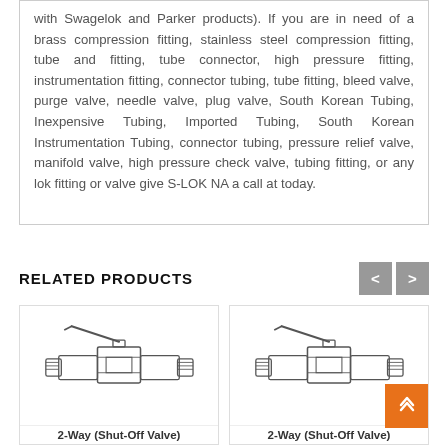with Swagelok and Parker products). If you are in need of a brass compression fitting, stainless steel compression fitting, tube and fitting, tube connector, high pressure fitting, instrumentation fitting, connector tubing, tube fitting, bleed valve, purge valve, needle valve, plug valve, South Korean Tubing, Inexpensive Tubing, Imported Tubing, South Korean Instrumentation Tubing, connector tubing, pressure relief valve, manifold valve, high pressure check valve, tubing fitting, or any lok fitting or valve give S-LOK NA a call at today.
RELATED PRODUCTS
[Figure (illustration): Technical drawing of a 2-Way (Shut-Off Valve) showing side and cross-section view with handle lever]
[Figure (illustration): Technical drawing of a 2-Way (Shut-Off Valve) showing side and cross-section view with handle lever]
2-Way (Shut-Off Valve)
2-Way (Shut-Off Valve)